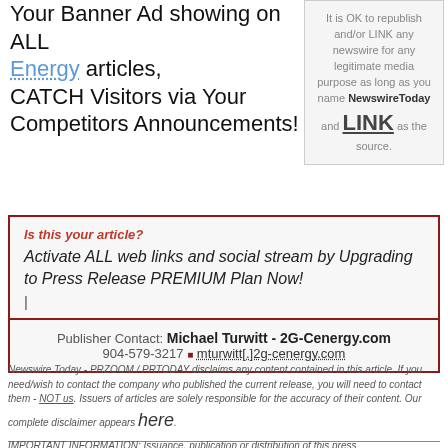Your Banner Ad showing on ALL Energy articles, CATCH Visitors via Your Competitors Announcements!
It is OK to republish and/or LINK any newswire for any legitimate media purpose as long as you name NewswireToday and LINK as the source.
Is this your article?
Activate ALL web links and social stream by Upgrading to Press Release PREMIUM Plan Now!
|
Publisher Contact: Michael Turwitt - 2G-Cenergy.com 904-579-3217 mturwitt[.]2g-cenergy.com
Newswire Today - PRZOOM / PRTODAY disclaims any content contained in this article. If you need/wish to contact the company who published the current release, you will need to contact them - NOT us. Issuers of articles are solely responsible for the accuracy of their content. Our complete disclaimer appears here.
IMPORTANT INFORMATION: Issuance, publication or distribution of this press